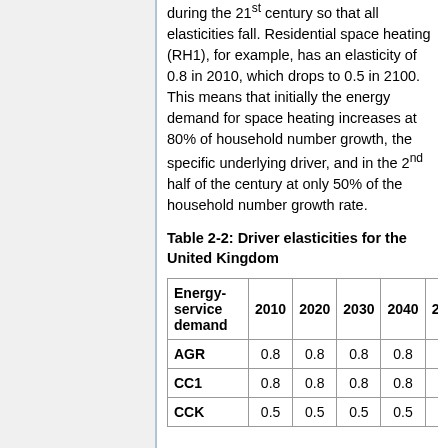during the 21st century so that all elasticities fall. Residential space heating (RH1), for example, has an elasticity of 0.8 in 2010, which drops to 0.5 in 2100. This means that initially the energy demand for space heating increases at 80% of household number growth, the specific underlying driver, and in the 2nd half of the century at only 50% of the household number growth rate.
Table 2-2: Driver elasticities for the United Kingdom
| Energy-service demand | 2010 | 2020 | 2030 | 2040 | 205… |
| --- | --- | --- | --- | --- | --- |
| AGR | 0.8 | 0.8 | 0.8 | 0.8 | 0.8 |
| CC1 | 0.8 | 0.8 | 0.8 | 0.8 | 0.7 |
| CCK | 0.5 | 0.5 | 0.5 | 0.5 | 0.5 |